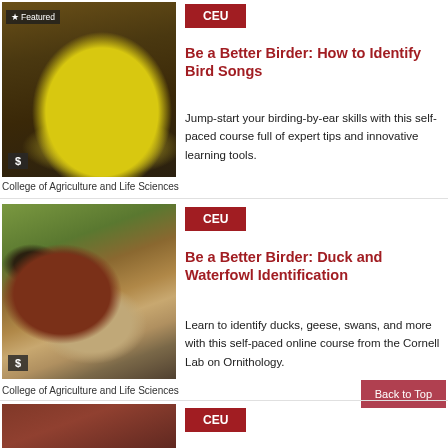[Figure (photo): Yellow warbler bird perched on a branch with 'Featured' badge and '$' price badge]
Be a Better Birder: How to Identify Bird Songs
Jump-start your birding-by-ear skills with this self-paced course full of expert tips and innovative learning tools.
College of Agriculture and Life Sciences
[Figure (photo): Green-winged teal duck swimming with '$' price badge]
Be a Better Birder: Duck and Waterfowl Identification
Learn to identify ducks, geese, swans, and more with this self-paced online course from the Cornell Lab on Ornithology.
College of Agriculture and Life Sciences
[Figure (photo): Partial view of third bird course card at bottom]